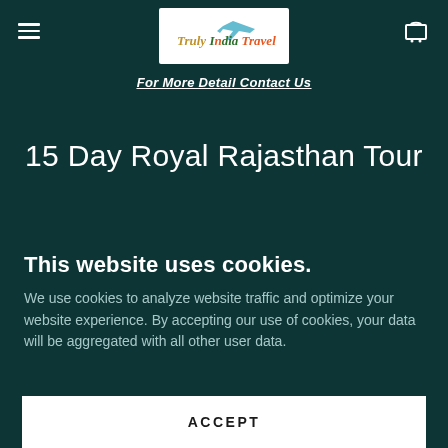Navigation bar with hamburger menu, Truly India Travel logo, and cart icon
For More Detail Contact Us
15 Day Royal Rajasthan Tour
This website uses cookies.
We use cookies to analyze website traffic and optimize your website experience. By accepting our use of cookies, your data will be aggregated with all other user data.
ACCEPT